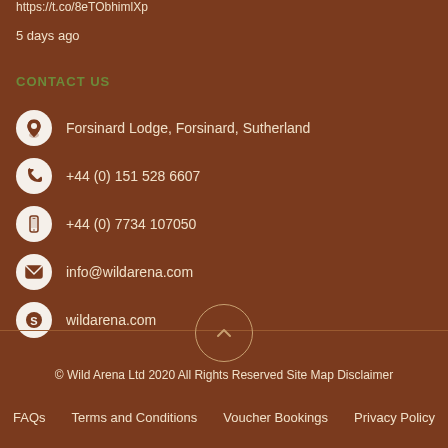https://t.co/8eTObhimlXp
5 days ago
CONTACT US
Forsinard Lodge, Forsinard, Sutherland
+44 (0) 151 528 6607
+44 (0) 7734 107050
info@wildarena.com
wildarena.com
© Wild Arena Ltd 2020 All Rights Reserved Site Map Disclaimer
FAQs   Terms and Conditions   Voucher Bookings   Privacy Policy